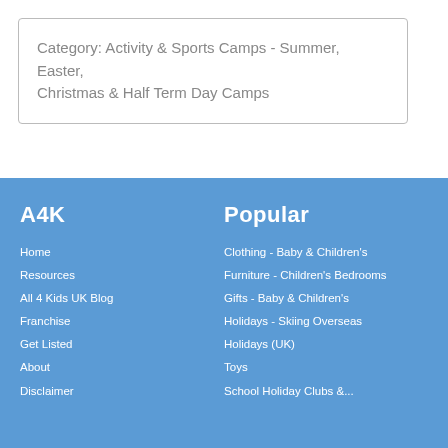Category: Activity & Sports Camps - Summer, Easter, Christmas & Half Term Day Camps
A4K
Popular
Home
Resources
All 4 Kids UK Blog
Franchise
Get Listed
About
Disclaimer
Clothing - Baby & Children's
Furniture - Children's Bedrooms
Gifts - Baby & Children's
Holidays - Skiing Overseas
Holidays (UK)
Toys
School Holiday Clubs &...